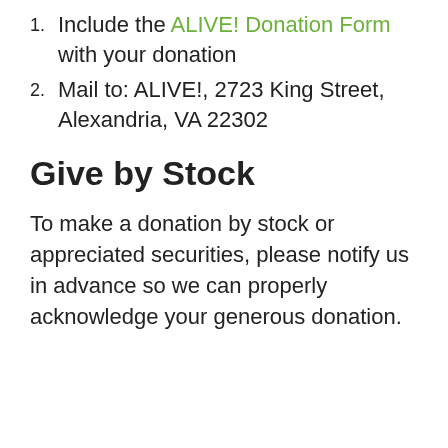Include the ALIVE! Donation Form with your donation
Mail to: ALIVE!, 2723 King Street,  Alexandria, VA 22302
Give by Stock
To make a donation by stock or appreciated securities, please notify us in advance so we can properly acknowledge your generous donation.